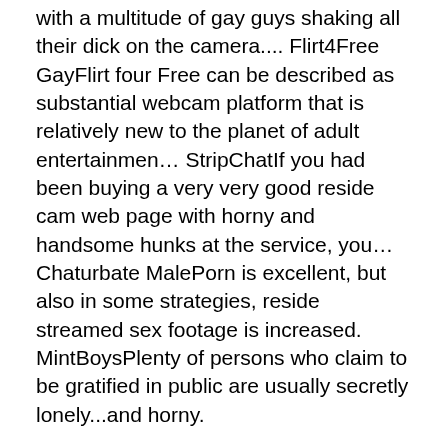with a multitude of gay guys shaking all their dick on the camera.... Flirt4Free GayFlirt four Free can be described as substantial webcam platform that is relatively new to the planet of adult entertainmen… StripChatIf you had been buying a very very good reside cam web page with horny and handsome hunks at the service, you… Chaturbate MalePorn is excellent, but also in some strategies, reside streamed sex footage is increased. MintBoys​Plenty of persons who claim to be gratified in public are usually secretly lonely...and horny.
Confidential Info on Serious Adult Online dating sites That Only The Experts Know Occur...